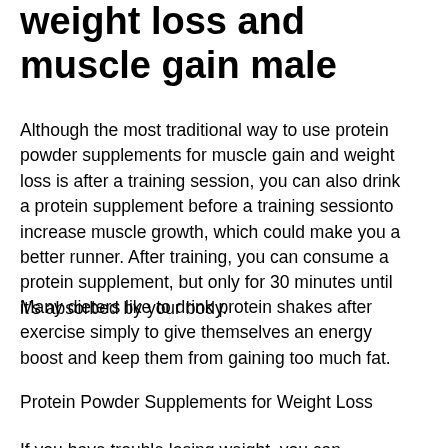weight loss and muscle gain male
Although the most traditional way to use protein powder supplements for muscle gain and weight loss is after a training session, you can also drink a protein supplement before a training sessionto increase muscle growth, which could make you a better runner. After training, you can consume a protein supplement, but only for 30 minutes until it's absorbed by your body.
Many dieters like to drink protein shakes after exercise simply to give themselves an energy boost and keep them from gaining too much fat.
Protein Powder Supplements for Weight Loss
If you have trouble losing weight, you can